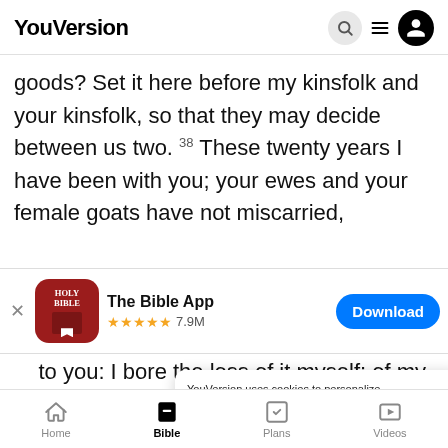YouVersion
goods? Set it here before my kinsfolk and your kinsfolk, so that they may decide between us two. 38 These twenty years I have been with you; your ewes and your female goats have not miscarried,
[Figure (screenshot): App download banner: The Bible App, 5 stars, 7.9M ratings, Download button]
to you: I bore the loss of it myself; of my
you req
night.
[Figure (screenshot): Cookie consent notice: YouVersion uses cookies to personalize your experience. By using our website, you accept our use of cookies as described in our Privacy Policy. OK button]
Home  Bible  Plans  Videos